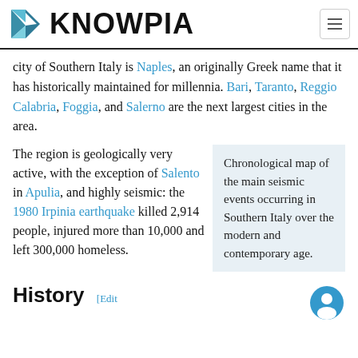KNOWPIA
city of Southern Italy is Naples, an originally Greek name that it has historically maintained for millennia. Bari, Taranto, Reggio Calabria, Foggia, and Salerno are the next largest cities in the area.
The region is geologically very active, with the exception of Salento in Apulia, and highly seismic: the 1980 Irpinia earthquake killed 2,914 people, injured more than 10,000 and left 300,000 homeless.
[Figure (other): Chronological map of the main seismic events occurring in Southern Italy over the modern and contemporary age.]
Chronological map of the main seismic events occurring in Southern Italy over the modern and contemporary age.
History